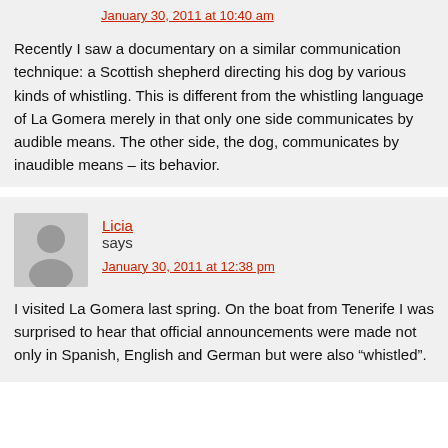January 30, 2011 at 10:40 am
Recently I saw a documentary on a similar communication technique: a Scottish shepherd directing his dog by various kinds of whistling. This is different from the whistling language of La Gomera merely in that only one side communicates by audible means. The other side, the dog, communicates by inaudible means – its behavior.
Licia says
January 30, 2011 at 12:38 pm
I visited La Gomera last spring. On the boat from Tenerife I was surprised to hear that official announcements were made not only in Spanish, English and German but were also "whistled".